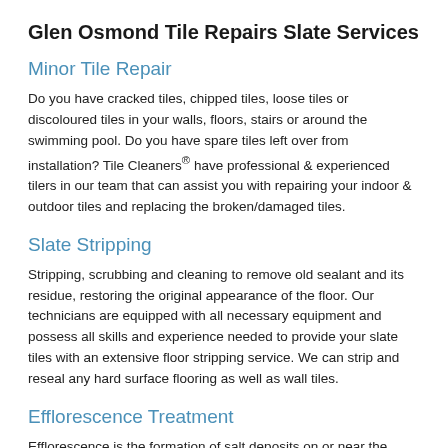Glen Osmond Tile Repairs Slate Services
Minor Tile Repair
Do you have cracked tiles, chipped tiles, loose tiles or discoloured tiles in your walls, floors, stairs or around the swimming pool. Do you have spare tiles left over from installation? Tile Cleaners® have professional & experienced tilers in our team that can assist you with repairing your indoor & outdoor tiles and replacing the broken/damaged tiles.
Slate Stripping
Stripping, scrubbing and cleaning to remove old sealant and its residue, restoring the original appearance of the floor. Our technicians are equipped with all necessary equipment and possess all skills and experience needed to provide your slate tiles with an extensive floor stripping service. We can strip and reseal any hard surface flooring as well as wall tiles.
Efflorescence Treatment
Efflorescence is the formation of salt deposits on or near the surface of the tile and grout. Tile Cleaners® technicians have a